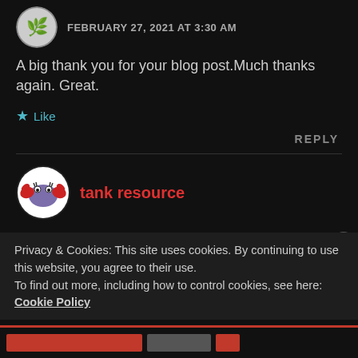FEBRUARY 27, 2021 AT 3:30 AM
A big thank you for your blog post.Much thanks again. Great.
★ Like
REPLY
tank resource
Privacy & Cookies: This site uses cookies. By continuing to use this website, you agree to their use.
To find out more, including how to control cookies, see here: Cookie Policy
Close and Accept